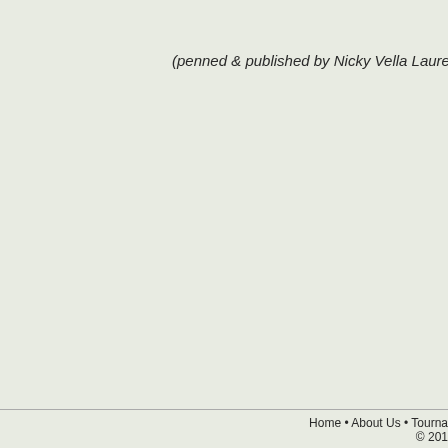(penned & published by Nicky Vella Laurenti,
Home • About Us • Tourna
© 201